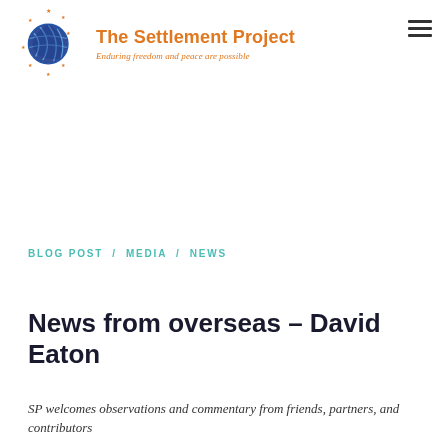[Figure (logo): The Settlement Project logo: blue globe with orange stars and curved lines, with orange text 'The Settlement Project' and italic tagline 'Enduring freedom and peace are possible']
BLOG POST / MEDIA / NEWS
News from overseas – David Eaton
SP welcomes observations and commentary from friends, partners, and contributors